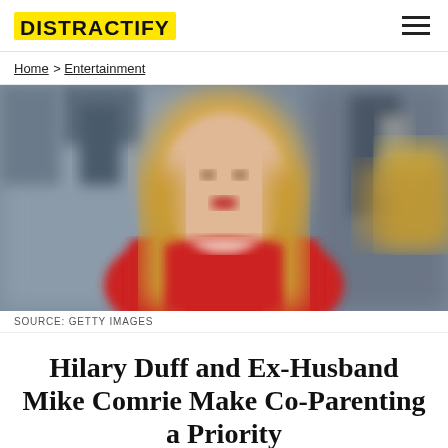DISTRACTIFY
Home > Entertainment
[Figure (photo): Blurred photo of a blonde woman in a red outfit, standing in front of a blurred background with equipment visible.]
SOURCE: GETTY IMAGES
Hilary Duff and Ex-Husband Mike Comrie Make Co-Parenting a Priority